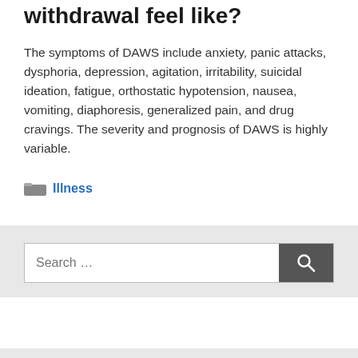withdrawal feel like?
The symptoms of DAWS include anxiety, panic attacks, dysphoria, depression, agitation, irritability, suicidal ideation, fatigue, orthostatic hypotension, nausea, vomiting, diaphoresis, generalized pain, and drug cravings. The severity and prognosis of DAWS is highly variable.
Categories: Illness